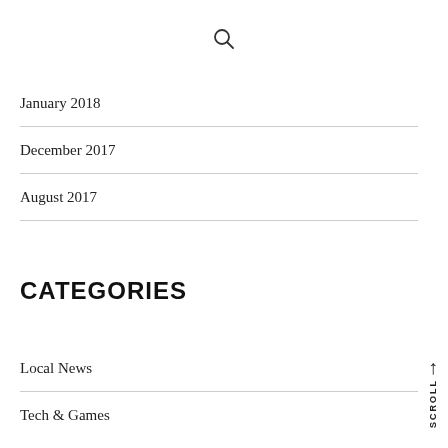[Figure (illustration): Search magnifying glass icon]
January 2018
December 2017
August 2017
CATEGORIES
Local News
Tech & Games